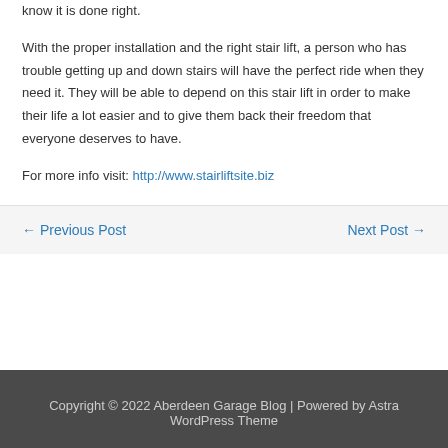know it is done right.
With the proper installation and the right stair lift, a person who has trouble getting up and down stairs will have the perfect ride when they need it. They will be able to depend on this stair lift in order to make their life a lot easier and to give them back their freedom that everyone deserves to have.
For more info visit: http://www.stairliftsite.biz
← Previous Post    Next Post →
Copyright © 2022 Aberdeen Garage Blog | Powered by Astra WordPress Theme